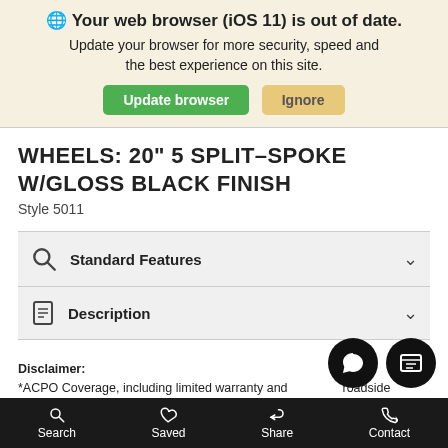🌐 Your web browser (iOS 11) is out of date. Update your browser for more security, speed and the best experience on this site. Update browser | Ignore
WHEELS: 20" 5 SPLIT-SPOKE W/GLOSS BLACK FINISH
Style 5011
Standard Features
Description
Disclaimer: *ACPO Coverage, including limited warranty and roadside assistance, expires one year from the end of the original new vehicle warranty with unlimited miles or two years from the end of the
Search | Saved | Share | Contact